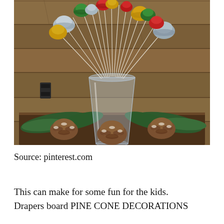[Figure (photo): A glass vase filled with white sticks holding painted pine cones in gold, silver, green, and red colors, arranged like a bouquet. The vase sits on a wooden surface surrounded by green pine branches and natural brown-and-white frosted pine cones. The background is a wooden wall.]
Source: pinterest.com
This can make for some fun for the kids.
Drapers board PINE CONE DECORATIONS